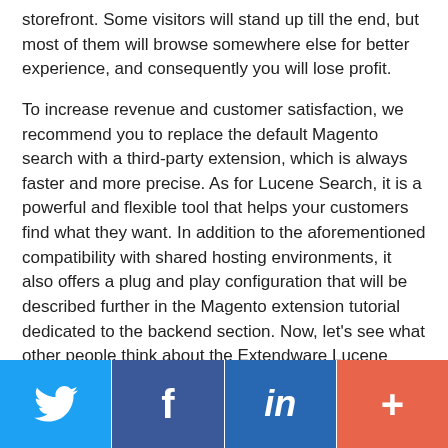storefront. Some visitors will stand up till the end, but most of them will browse somewhere else for better experience, and consequently you will lose profit.
To increase revenue and customer satisfaction, we recommend you to replace the default Magento search with a third-party extension, which is always faster and more precise. As for Lucene Search, it is a powerful and flexible tool that helps your customers find what they want. In addition to the aforementioned compatibility with shared hosting environments, it also offers a plug and play configuration that will be described further in the Magento extension tutorial dedicated to the backend section. Now, let's see what other people think about the Extendware Lucene Search Magento module and proceed to the
[Figure (infographic): Social sharing bar with four buttons: Twitter (blue), Facebook (dark blue), LinkedIn (medium blue), and a plus/share button (orange-red)]